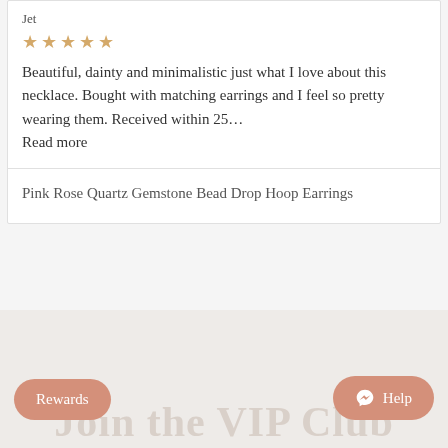Jet
[Figure (other): 5 gold/tan star rating icons]
Beautiful, dainty and minimalistic just what I love about this necklace. Bought with matching earrings and I feel so pretty wearing them. Received within 25... Read more
Pink Rose Quartz Gemstone Bead Drop Hoop Earrings
Join the VIP Club
Rewards
Help